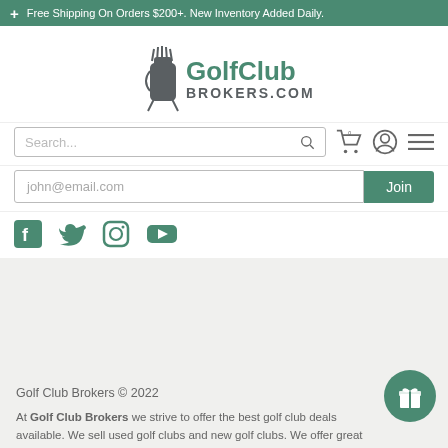+ Free Shipping On Orders $200+. New Inventory Added Daily.
[Figure (logo): GolfClub Brokers.com logo with golf bag icon]
Search...
john@email.com  [Join button]
[Figure (infographic): Social media icons: Facebook, Twitter, Instagram, YouTube]
Golf Club Brokers © 2022
At Golf Club Brokers we strive to offer the best golf club deals available. We sell used golf clubs and new golf clubs. We offer great prices on clubs of all types, including iron...